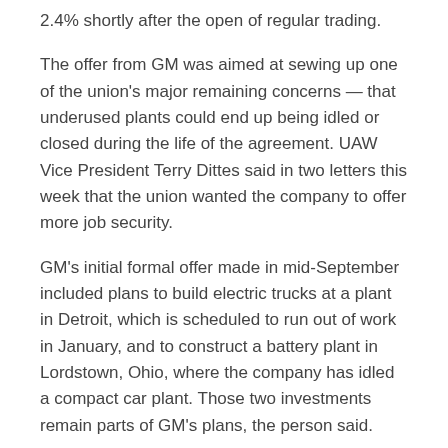2.4% shortly after the open of regular trading.
The offer from GM was aimed at sewing up one of the union's major remaining concerns — that underused plants could end up being idled or closed during the life of the agreement. UAW Vice President Terry Dittes said in two letters this week that the union wanted the company to offer more job security.
GM's initial formal offer made in mid-September included plans to build electric trucks at a plant in Detroit, which is scheduled to run out of work in January, and to construct a battery plant in Lordstown, Ohio, where the company has idled a compact car plant. Those two investments remain parts of GM's plans, the person said.
Disclaimer: Fusion Media would like to remind you that the data contained in this website is not necessarily real-